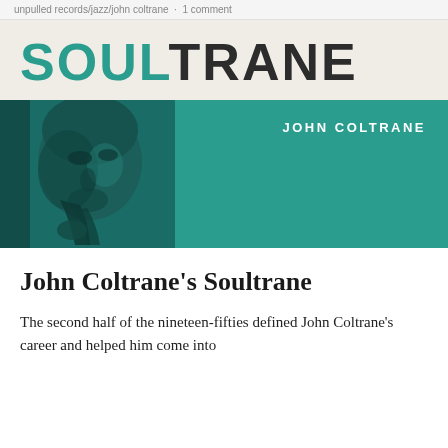unpulled records/jazz/john coltrane · 1 comment
[Figure (illustration): Soultrane album cover by John Coltrane. White/cream background with large bold text 'SOULTRANE' where 'SOUL' is in teal and 'TRANE' is in dark/black. Below is a teal band featuring a close-up photo of John Coltrane playing saxophone on the left side, and 'JOHN COLTRANE' text in white on the right side.]
John Coltrane's Soultrane
The second half of the nineteen-fifties defined John Coltrane's career and helped him come into